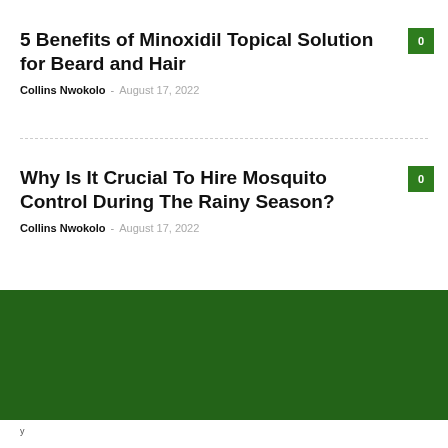5 Benefits of Minoxidil Topical Solution for Beard and Hair
Collins Nwokolo - August 17, 2022
Why Is It Crucial To Hire Mosquito Control During The Rainy Season?
Collins Nwokolo - August 17, 2022
[Figure (other): Dark green rectangular banner/footer block]